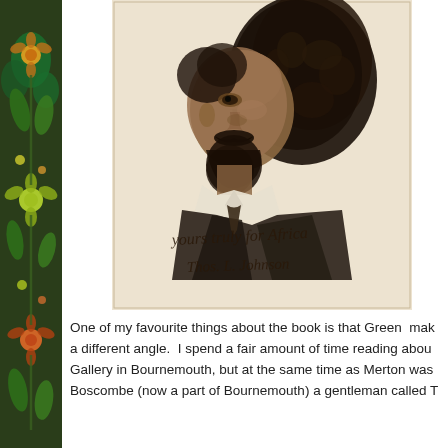[Figure (illustration): Engraved portrait of a man with large curly hair and a beard, shown in profile/three-quarter view, wearing a suit. Below the portrait is a handwritten signature reading 'yours truly for Africa / Thos. L. Johnson'. A decorative floral border runs along the left side of the page.]
One of my favourite things about the book is that Green  makes a different angle.  I spend a fair amount of time reading about Gallery in Bournemouth, but at the same time as Merton was Boscombe (now a part of Bournemouth) a gentleman called T